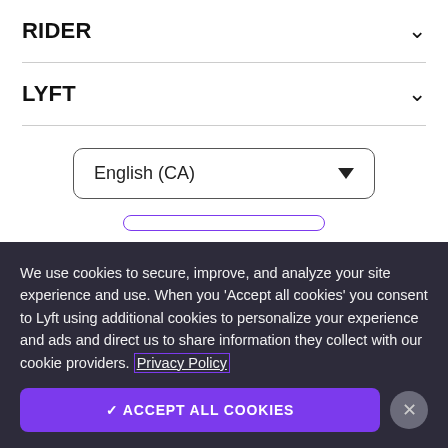RIDER
LYFT
English (CA)
We use cookies to secure, improve, and analyze your site experience and use. When you 'Accept all cookies' you consent to Lyft using additional cookies to personalize your experience and ads and direct us to share information they collect with our cookie providers. Privacy Policy
✓ ACCEPT ALL COOKIES